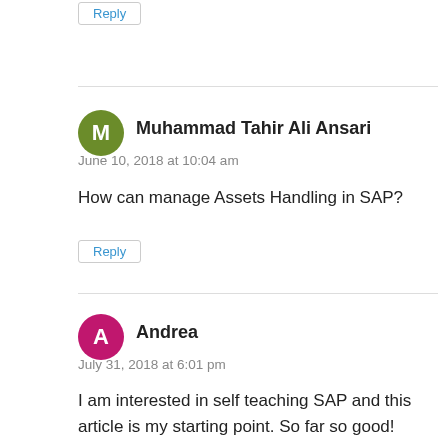Reply
Muhammad Tahir Ali Ansari
June 10, 2018 at 10:04 am
How can manage Assets Handling in SAP?
Reply
Andrea
July 31, 2018 at 6:01 pm
I am interested in self teaching SAP and this article is my starting point. So far so good!